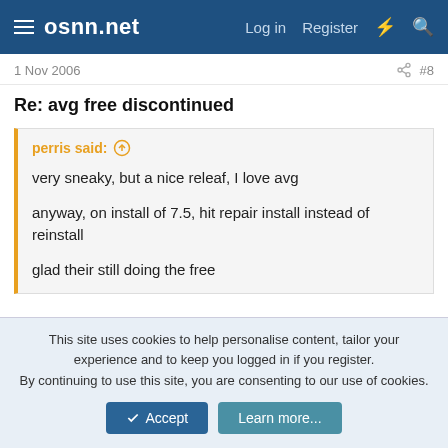osnn.net — Log in  Register
1 Nov 2006  #8
Re: avg free discontinued
perris said: ↑
very sneaky, but a nice releaf, I love avg

anyway, on install of 7.5, hit repair install instead of reinstall

glad their still doing the free
Shouldnt the thread name be corrected then?
This site uses cookies to help personalise content, tailor your experience and to keep you logged in if you register.
By continuing to use this site, you are consenting to our use of cookies.
[Accept] [Learn more...]